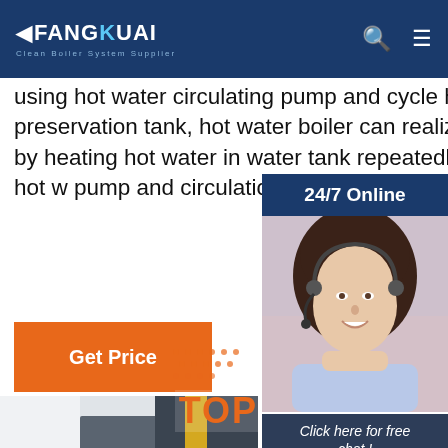FANGKUAI - Clean Boiler System Supplier
using hot water circulating pump and cycle heat preservation tank, hot water boiler can realize bath purpose by heating hot water in water tank repeatedly. 2. By using hot w pump and circulation heating ...
Get Price
24/7 Online
[Figure (photo): Customer service representative wearing a headset, smiling, used as 24/7 online chat support icon on right sidebar]
Click here for free chat !
QUOTATION
[Figure (photo): Industrial boiler room interior showing large cylindrical boilers, pipes including yellow and pink/red pipes, gauges, and industrial equipment]
TOP